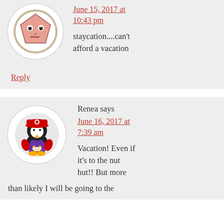June 15, 2017 at 10:43 pm
staycation....can't afford a vacation
Reply
Renea says
June 16, 2017 at 7:39 am
Vacation! Even if it's to the nut hut!! But more than likely I will be going to the